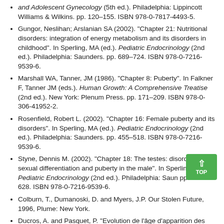and Adolescent Gynecology (5th ed.). Philadelphia: Lippincott Williams & Wilkins. pp. 120–155. ISBN 978-0-7817-4493-5.
Gungor, Neslihan; Arslanian SA (2002). "Chapter 21: Nutritional disorders: integration of energy metabolism and its disorders in childhood". In Sperling, MA (ed.). Pediatric Endocrinology (2nd ed.). Philadelphia: Saunders. pp. 689–724. ISBN 978-0-7216-9539-6.
Marshall WA, Tanner, JM (1986). "Chapter 8: Puberty". In Falkner F, Tanner JM (eds.). Human Growth: A Comprehensive Treatise (2nd ed.). New York: Plenum Press. pp. 171–209. ISBN 978-0-306-41952-2.
Rosenfield, Robert L. (2002). "Chapter 16: Female puberty and its disorders". In Sperling, MA (ed.). Pediatric Endocrinology (2nd ed.). Philadelphia: Saunders. pp. 455–518. ISBN 978-0-7216-9539-6.
Styne, Dennis M. (2002). "Chapter 18: The testes: disorders of sexual differentiation and puberty in the male". In Sperling, (ed.). Pediatric Endocrinology (2nd ed.). Philadelphia: Saun pp. 565–628. ISBN 978-0-7216-9539-6.
Colburn, T., Dumanoski, D. and Myers, J.P. Our Stolen Future, 1996, Plume: New York.
Ducros, A. and Pasquet, P. "Evolution de l'âge d'apparition des premières règles (ménarche) en France". Biométrie Humaine (1978), 13, 35–43.